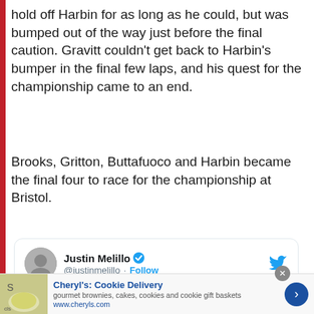hold off Harbin for as long as he could, but was bumped out of the way just before the final caution. Gravitt couldn't get back to Harbin's bumper in the final few laps, and his quest for the championship came to an end.
Brooks, Gritton, Buttafuoco and Harbin became the final four to race for the championship at Bristol.
[Figure (screenshot): Embedded tweet from Justin Melillo (@justinmelillo) with verified checkmark and Follow button, Twitter bird icon top right, tweet text beginning 'Phoenix Results']
[Figure (infographic): Advertisement bar for Cheryl's Cookie Delivery with food image, blue title text, description 'gourmet brownies, cakes, cookies and cookie gift baskets', url www.cheryls.com, blue arrow button, and close X button]